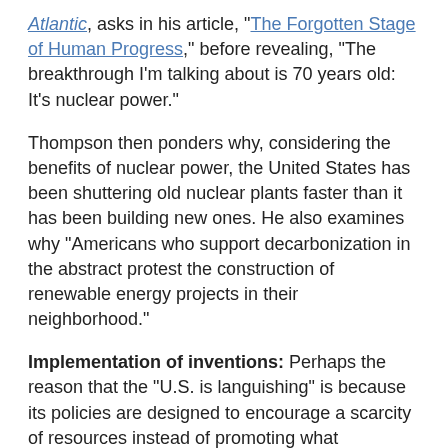Atlantic, asks in his article, "The Forgotten Stage of Human Progress," before revealing, "The breakthrough I'm talking about is 70 years old: It's nuclear power."
Thompson then ponders why, considering the benefits of nuclear power, the United States has been shuttering old nuclear plants faster than it has been building new ones. He also examines why "Americans who support decarbonization in the abstract protest the construction of renewable energy projects in their neighborhood."
Implementation of inventions: Perhaps the reason that the "U.S. is languishing" is because its policies are designed to encourage a scarcity of resources instead of promoting what Thompson calls "an abundance agenda," as well as because